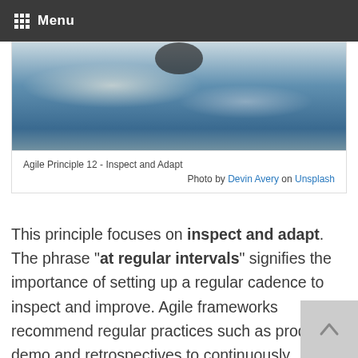Menu
[Figure (photo): Aerial or sky photo with clouds and blue tones, partially cropped, showing a dark silhouette at top center.]
Agile Principle 12 - Inspect and Adapt
Photo by Devin Avery on Unsplash
This principle focuses on inspect and adapt. The phrase "at regular intervals" signifies the importance of setting up a regular cadence to inspect and improve. Agile frameworks recommend regular practices such as product demo and retrospectives to continuously improve the process in an iterative way.